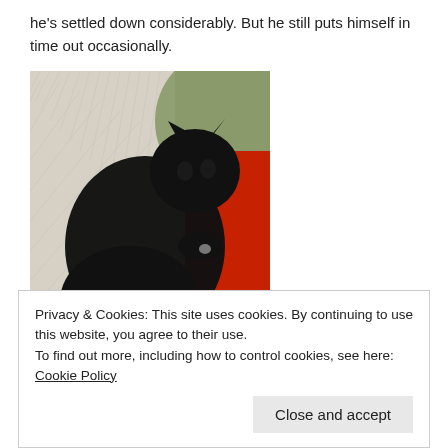he's settled down considerably. But he still puts himself in time out occasionally.
[Figure (photo): A black cat lying on a white woven blanket with a red fabric or cushion visible beside it. The cat appears relaxed, viewed from above.]
Privacy & Cookies: This site uses cookies. By continuing to use this website, you agree to their use.
To find out more, including how to control cookies, see here: Cookie Policy
Close and accept